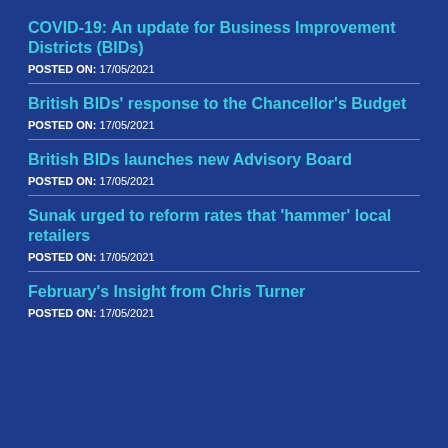COVID-19: An update for Business Improvement Districts (BIDs)
POSTED ON: 17/05/2021
British BIDs' response to the Chancellor's Budget
POSTED ON: 17/05/2021
British BIDs launches new Advisory Board
POSTED ON: 17/05/2021
Sunak urged to reform rates that 'hammer' local retailers
POSTED ON: 17/05/2021
February's Insight from Chris Turner
POSTED ON: 17/05/2021